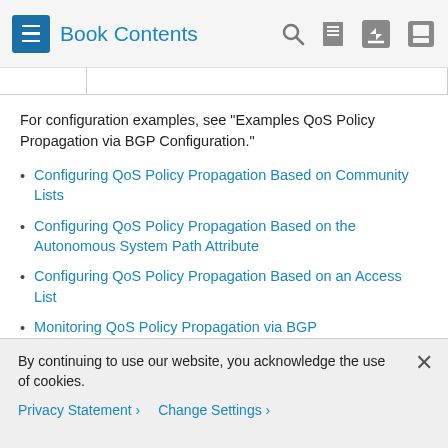Book Contents
For configuration examples, see "Examples QoS Policy Propagation via BGP Configuration."
Configuring QoS Policy Propagation Based on Community Lists
Configuring QoS Policy Propagation Based on the Autonomous System Path Attribute
Configuring QoS Policy Propagation Based on an Access List
Monitoring QoS Policy Propagation via BGP
Configuring QoS Policy Propagation Based on Community Lists
By continuing to use our website, you acknowledge the use of cookies.
Privacy Statement › Change Settings ›